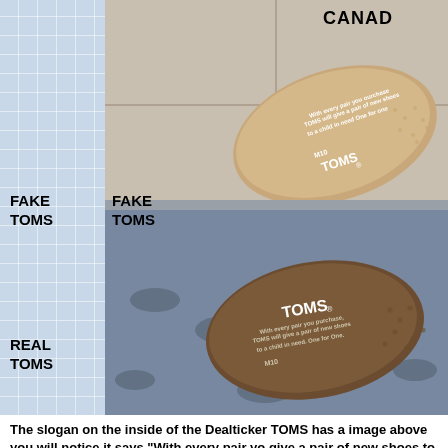[Figure (photo): Comparison photo showing two TOMS shoe insoles side by side. Top insole labeled 'FAKE TOMS' shows text 'With every pair you ourchase TOMS will give a pair of new shoes to a child in need One for one' with M10 and TOMS logo. Bottom insole labeled 'REAL TOMS' shows TOMS logo with text 'With every pair you purchase, TOMS will give a pair of new shoes to a child in need. One for One.' A partial 'CANAD' watermark appears top right.]
The slogan on the inside of the Dealticker TOMS has a image above you will notice it says "With every pair yo give a pair of new shoes to a child in need One by One